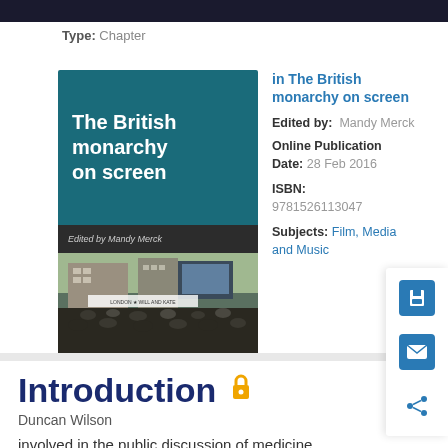Type: Chapter
[Figure (photo): Book cover of 'The British monarchy on screen' edited by Mandy Merck, showing a crowd at a royal event (Will and Kate)]
in The British monarchy on screen
Edited by: Mandy Merck
Online Publication Date: 28 Feb 2016
ISBN: 9781526113047
Subjects: Film, Media and Music
Introduction
Duncan Wilson
involved in the public discussion of medicine
and Introduction 9 biology, the teaching of